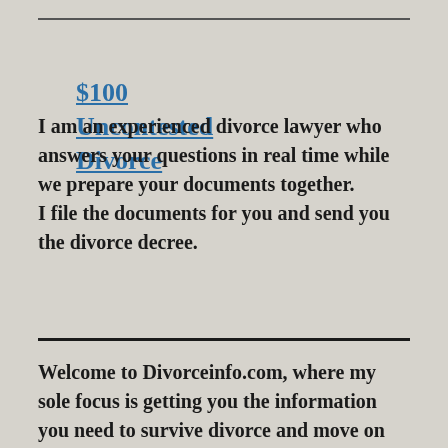$100 Uncontested Divorce
I am an experienced divorce lawyer who answers your questions in real time while we prepare your documents together. I file the documents for you and send you the divorce decree.
No Rejection Guarantee.
Welcome to Divorceinfo.com, where my sole focus is getting you the information you need to survive divorce and move on with your life.